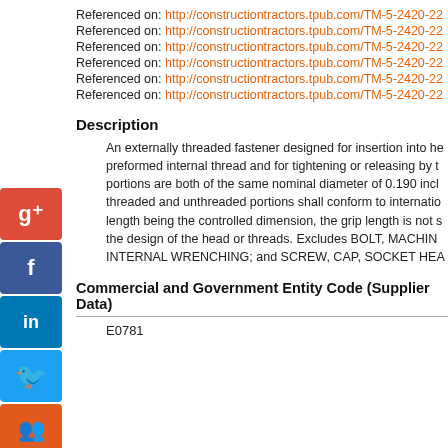Referenced on: http://constructiontractors.tpub.com/TM-5-2420-22
Referenced on: http://constructiontractors.tpub.com/TM-5-2420-22
Referenced on: http://constructiontractors.tpub.com/TM-5-2420-22
Referenced on: http://constructiontractors.tpub.com/TM-5-2420-22
Referenced on: http://constructiontractors.tpub.com/TM-5-2420-22
Referenced on: http://constructiontractors.tpub.com/TM-5-2420-22
Description
An externally threaded fastener designed for insertion into ho preformed internal thread and for tightening or releasing by t portions are both of the same nominal diameter of 0.190 incl threaded and unthreaded portions shall conform to internatio length being the controlled dimension, the grip length is not s the design of the head or threads. Excludes BOLT, MACHIN INTERNAL WRENCHING; and SCREW, CAP, SOCKET HEA
Commercial and Government Entity Code (Supplier Data)
E0781